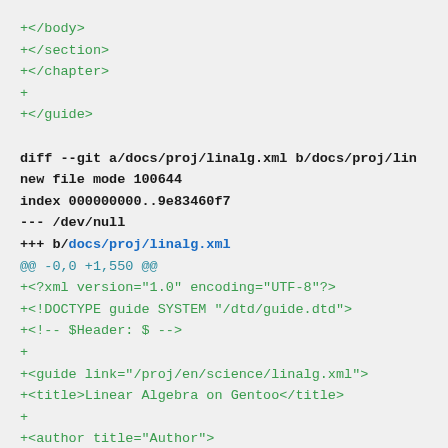+</body>
+</section>
+</chapter>
+
+</guide>

diff --git a/docs/proj/linalg.xml b/docs/proj/lin
new file mode 100644
index 000000000..9e83460f7
--- /dev/null
+++ b/docs/proj/linalg.xml
@@ -0,0 +1,550 @@
+<?xml version="1.0" encoding="UTF-8"?>
+<!DOCTYPE guide SYSTEM "/dtd/guide.dtd">
+<!-- $Header: $ -->
+
+<guide link="/proj/en/science/linalg.xml">
+<title>Linear Algebra on Gentoo</title>
+
+<author title="Author">
+  <mail link="bicatali@gentoo.org">Sébastien Fab
+</author>